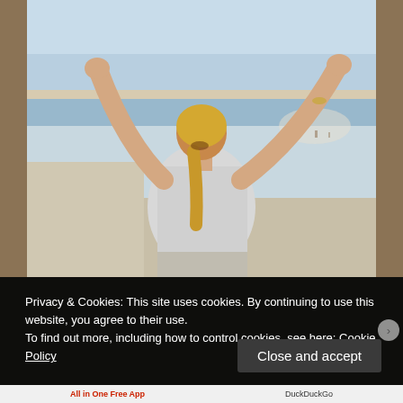[Figure (photo): A woman seen from behind with arms raised wide, standing at a beach. She has blonde hair in a ponytail and wears a light grey top. The background shows a bright beach scene with blue sky and sand.]
Privacy & Cookies: This site uses cookies. By continuing to use this website, you agree to their use.
To find out more, including how to control cookies, see here: Cookie Policy
Close and accept
All in One Free App
DuckDuckGo